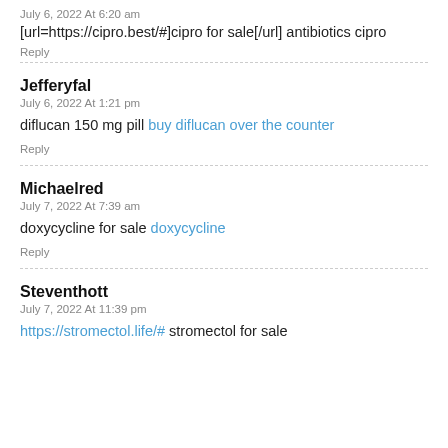July 6, 2022 At 6:20 am
[url=https://cipro.best/#]cipro for sale[/url] antibiotics cipro
Reply
Jefferyfal
July 6, 2022 At 1:21 pm
diflucan 150 mg pill buy diflucan over the counter
Reply
Michaelred
July 7, 2022 At 7:39 am
doxycycline for sale doxycycline
Reply
Steventhott
July 7, 2022 At 11:39 pm
https://stromectol.life/# stromectol for sale